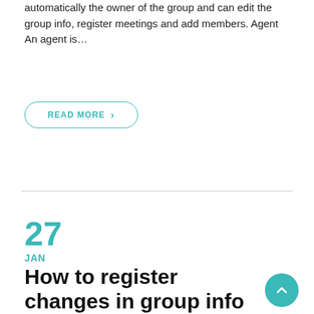automatically the owner of the group and can edit the group info, register meetings and add members. Agent An agent is…
READ MORE ›
27
JAN
How to register changes in group info